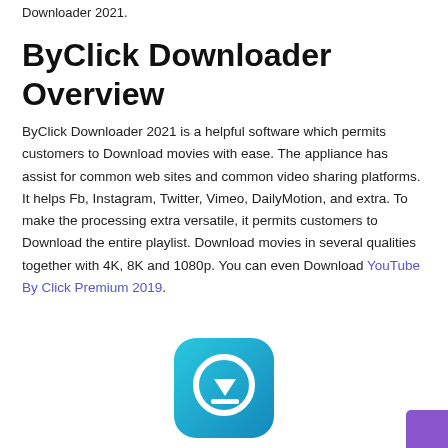Downloader 2021.
ByClick Downloader Overview
ByClick Downloader 2021 is a helpful software which permits customers to Download movies with ease. The appliance has assist for common web sites and common video sharing platforms. It helps Fb, Instagram, Twitter, Vimeo, DailyMotion, and extra. To make the processing extra versatile, it permits customers to Download the entire playlist. Download movies in several qualities together with 4K, 8K and 1080p. You can even Download YouTube By Click Premium 2019.
[Figure (logo): ByClick Downloader app icon — rounded square with teal/blue gradient background and white download arrow inside a circle]